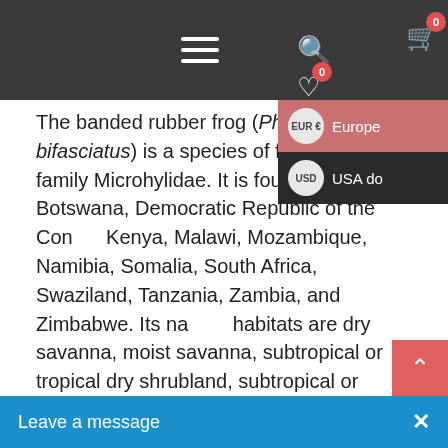Navigation bar with hamburger menu, search, wishlist (0), cart (0)
The banded rubber frog (Phrynomantis bifasciatus) is a species of frog in the family Microhylidae. It is found in Angola, Botswana, Democratic Republic of the Congo, Kenya, Malawi, Mozambique, Namibia, Somalia, South Africa, Swaziland, Tanzania, Zambia, and Zimbabwe. Its natural habitats are dry savanna, moist savanna, subtropical or tropical dry shrubland, subtropical or tropical moist shrubland, subtropical or tropical dry lowland grassland, subtropical or tropical seasonally wet or flooded lowland grassland, subtropical or tropical high-altitude grassland, intermittent freshwater lakes, intermittent freshwater marshes, arable land, pastureland, water storage areas, ponds, and canals and ditches.The female can reach a maximum size of 65 mm whereas the tadpoles can reach a size of 37 mm. The maximum size of the male is yet unknown, but sizes differ from 45 mm to 68 mm.
[Figure (screenshot): Currency selector dropdown showing EUR (Europe) and USD (USA dollar) options]
[Figure (screenshot): Scroll-to-top pink button with chevron up arrow]
Leave a message  X